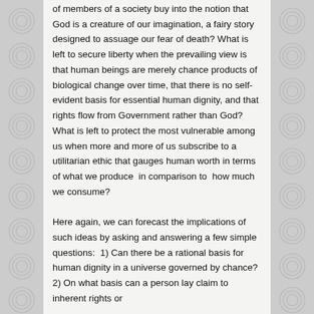of members of a society buy into the notion that God is a creature of our imagination, a fairy story designed to assuage our fear of death? What is left to secure liberty when the prevailing view is that human beings are merely chance products of biological change over time, that there is no self-evident basis for essential human dignity, and that rights flow from Government rather than God? What is left to protect the most vulnerable among us when more and more of us subscribe to a utilitarian ethic that gauges human worth in terms of what we produce  in comparison to  how much we consume?

Here again, we can forecast the implications of such ideas by asking and answering a few simple questions:  1) Can there be a rational basis for human dignity in a universe governed by chance? 2) On what basis can a person lay claim to inherent rights or